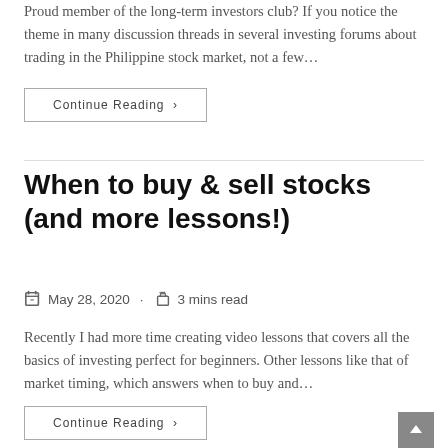Proud member of the long-term investors club? If you notice the theme in many discussion threads in several investing forums about trading in the Philippine stock market, not a few…
Continue Reading ›
When to buy & sell stocks (and more lessons!)
May 28, 2020 · 3 mins read
Recently I had more time creating video lessons that covers all the basics of investing perfect for beginners. Other lessons like that of market timing, which answers when to buy and…
Continue Reading ›